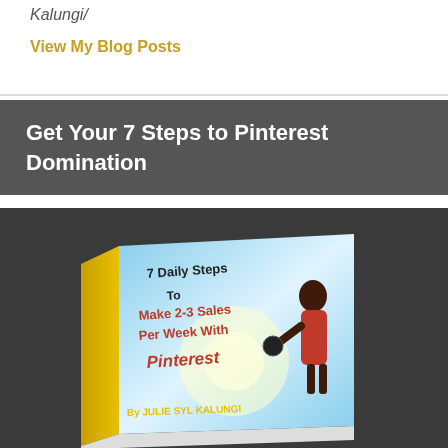Kalungi/
View My Blog Posts
Get Your 7 Steps to Pinterest Domination
[Figure (illustration): Book cover: '7 Daily Steps To Make 2-3 Sales Per Week With Pinterest' by Julie Syl Kalungi. Book cover shows a woman in red dress, bright blue sky with light rays. Red and yellow text on cover.]